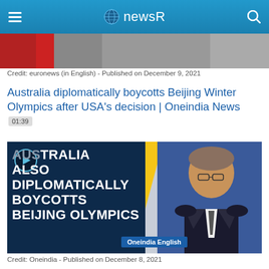newsR
[Figure (screenshot): Partial top image strip from a news video, showing red and grey tones]
Credit: euronews (in English) - Published on December 9, 2021
Australia diplomatically boycotts Beijing Winter Olympics after USA's decision | Oneindia News  01:39
[Figure (screenshot): Video thumbnail showing text: AUSTRALIA ALSO DIPLOMATICALLY BOYCOTTS BEIJING OLYMPICS with a man in a suit speaking at a podium on the right, and Oneindia English badge at bottom]
Credit: Oneindia - Published on December 8, 2021